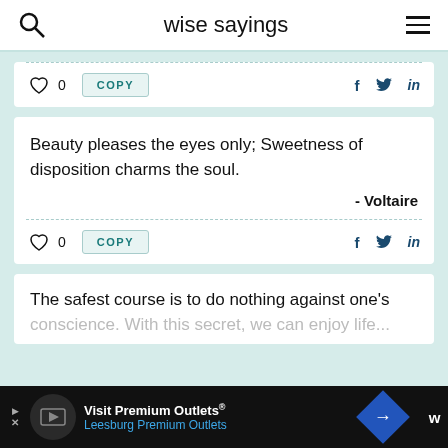wise sayings
0  COPY  f  in
Beauty pleases the eyes only; Sweetness of disposition charms the soul.
- Voltaire
0  COPY  f  in
The safest course is to do nothing against one's conscience. With this secret, we can enjoy life...
Visit Premium Outlets® Leesburg Premium Outlets